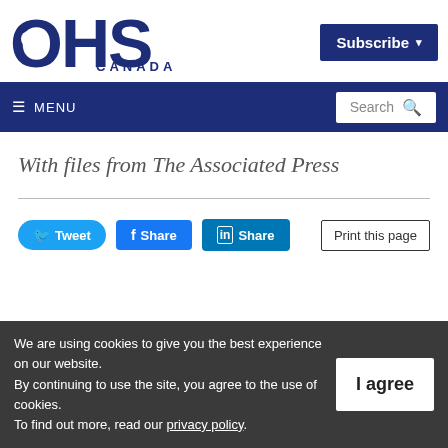[Figure (logo): OHS Canada logo — large bold dark navy letters OHS with CANADA below]
Subscribe
≡ MENU  Search
With files from The Associated Press
Tweet  Share  Share  Print this page
We are using cookies to give you the best experience on our website. By continuing to use the site, you agree to the use of cookies. To find out more, read our privacy policy.